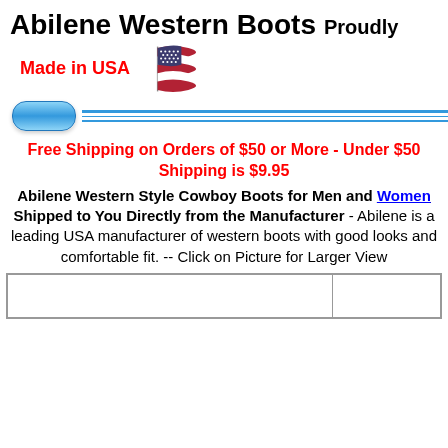Abilene Western Boots   Proudly
[Figure (illustration): American flag illustration]
Made in USA
[Figure (other): Blue oval button and horizontal blue divider lines]
Free Shipping on Orders of $50 or More  -  Under $50 Shipping is $9.95
Abilene Western Style Cowboy Boots for Men and Women Shipped to You Directly from the Manufacturer - Abilene is a leading USA manufacturer of western boots with good looks and comfortable fit.  --  Click on Picture for Larger View
|  |  |